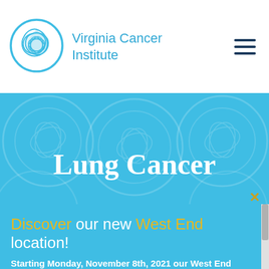Virginia Cancer Institute
[Figure (logo): Virginia Cancer Institute circular logo in teal/blue with interlocking ribbon/leaf design]
Lung Cancer
Virginia Cancer Institute...
Discover our new West End location! Starting Monday, November 8th, 2021 our West End office will be located at: 8007 Discovery Dr, Suite A, Richmond, VA 23229 Map It